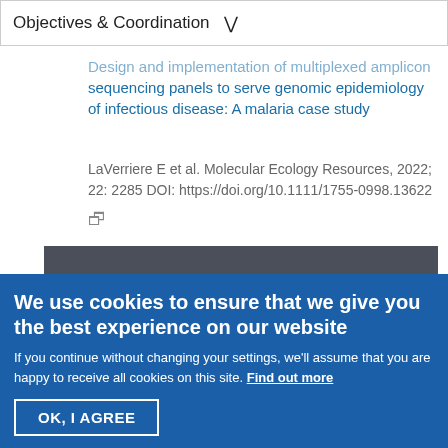Objectives & Coordination
Design and implementation of multiplexed amplicon sequencing panels to serve genomic epidemiology of infectious disease: A malaria case study
LaVerriere E et al. Molecular Ecology Resources, 2022; 22: 2285 DOI: https://doi.org/10.1111/1755-0998.13622
[Figure (photo): Dark grey/charcoal background image, partially visible, appears to show a curved shape in blue tones]
We use cookies to ensure that we give you the best experience on our website
If you continue without changing your settings, we'll assume that you are happy to receive all cookies on this site. Find out more
OK, I AGREE